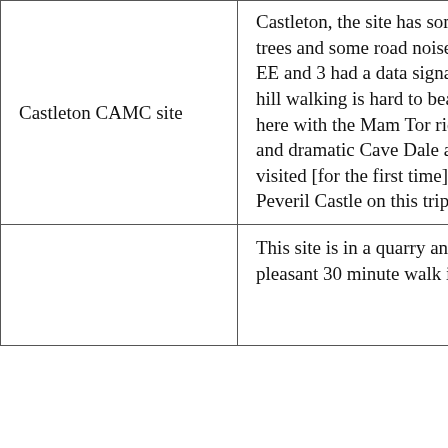| Castleton CAMC site | Castleton, the site has some trees and some road noise. Both EE and 3 had a data signal. The hill walking is hard to beat from here with the Mam Tor ridge and dramatic Cave Dale and we visited [for the first time] Peveril Castle on this trip. |
|  | This site is in a quarry and a pleasant 30 minute walk into the |